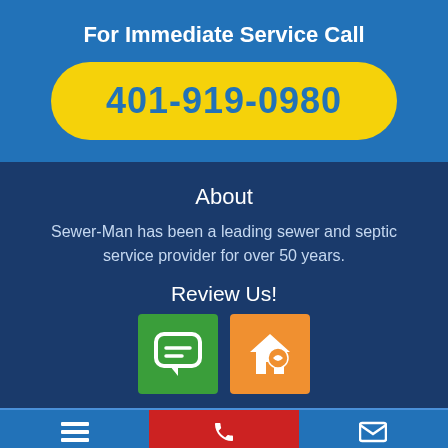For Immediate Service Call
401-919-0980
About
Sewer-Man has been a leading sewer and septic service provider for over 50 years.
Review Us!
[Figure (illustration): Two review icons: a green speech bubble icon and an orange house/thumbs-up icon]
Menu | Call us | Email us